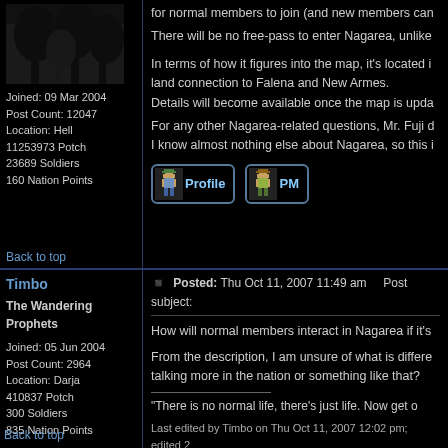[Figure (photo): Avatar image - dark nature/forest scene]
Joined: 09 Mar 2004
Post Count: 12047
Location: Hell
11253973 Potch
23689 Soldiers
160 Nation Points
for normal members to join (and new members can
There will be no free-pass to enter Nagarea, unlike
In terms of how it figures into the map, it's located i
land connection to Falena and New Armes.
Details will become available once the map is upda
For any other Nagarea-related questions, Mr. Fuji d
I know almost nothing else about Nagarea, so this i
Back to top
[Figure (screenshot): Profile button with sprite character]
[Figure (screenshot): PM button with sprite character]
Timbo
The Wandering Prophets
Joined: 05 Jun 2004
Post Count: 2964
Location: Darja
410837 Potch
300 Soldiers
835 Nation Points
Posted: Thu Oct 11, 2007 11:49 am    Post subject:
How will normal members interact in Nagarea if it's
From the description, I am unsure of what is differe
talking more in the nation or something like that?
"There is no normal life, there's just life. Now get o
Last edited by Timbo on Thu Oct 11, 2007 12:02 pm; edited 2
Back to top